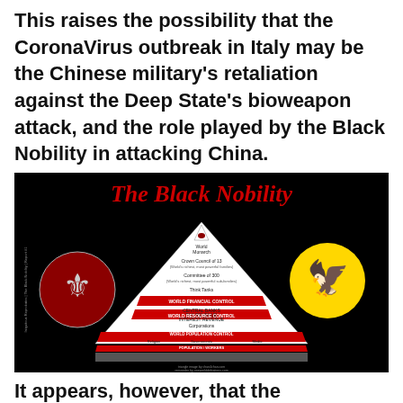This raises the possibility that the CoronaVirus outbreak in Italy may be the Chinese military's retaliation against the Deep State's bioweapon attack, and the role played by the Black Nobility in attacking China.
[Figure (infographic): An infographic titled 'The Black Nobility' showing a pyramid hierarchy of world power structures including World Monarch, Crown Council of 13, Committee of 300, Think Tanks, World Financial Control (Central Banks, Tax Revenue, Interest Revenue), World Resource Control, Corporations, World Population Control (Religion, Governments, Media, Military, Police, Courts, Prisons, Schools), and Population/Workers at the base. Two heraldic emblems flank the pyramid — a double-headed eagle in a red circle on the left and a black eagle on a yellow circle on the right. Text on left reads 'Iniquitous Reprobates | The Black Nobility | Report #1'.]
It appears, however, that the bioweapon attack on